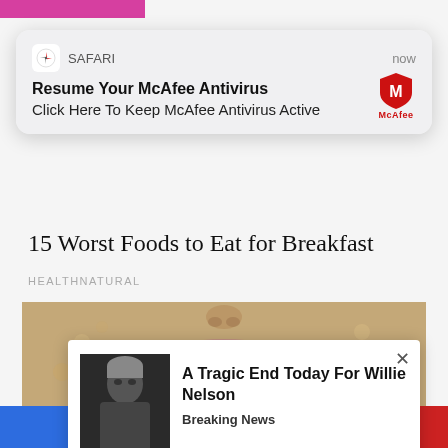[Figure (screenshot): Safari browser notification popup: 'Resume Your McAfee Antivirus - Click Here To Keep McAfee Antivirus Active' with McAfee logo, labeled 'now']
15 Worst Foods to Eat for Breakfast
HEALTHNATURAL
[Figure (photo): Close-up photo of a face with skin covered in oat/grain texture, showing lips area prominently]
[Figure (screenshot): Breaking news popup ad: 'A Tragic End Today For Willie Nelson' with photo of an elderly man and 'Breaking News' label, with X close button]